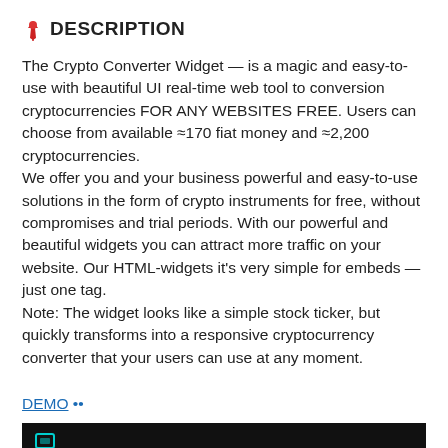📌 DESCRIPTION
The Crypto Converter Widget — is a magic and easy-to-use with beautiful UI real-time web tool to conversion cryptocurrencies FOR ANY WEBSITES FREE. Users can choose from available ≈170 fiat money and ≈2,200 cryptocurrencies.
We offer you and your business powerful and easy-to-use solutions in the form of crypto instruments for free, without compromises and trial periods. With our powerful and beautiful widgets you can attract more traffic on your website. Our HTML-widgets it's very simple for embeds — just one tag.
Note: The widget looks like a simple stock ticker, but quickly transforms into a responsive cryptocurrency converter that your users can use at any moment.
DEMO ••
[Figure (screenshot): Black bar at bottom showing a dark background with a small cyan/teal icon visible at the left edge — appears to be a screenshot of the widget demo.]